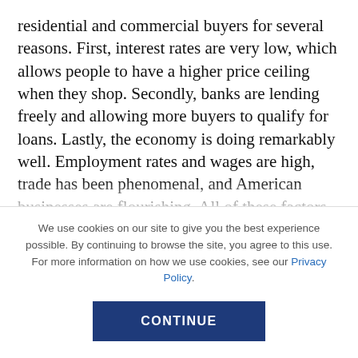residential and commercial buyers for several reasons. First, interest rates are very low, which allows people to have a higher price ceiling when they shop. Secondly, banks are lending freely and allowing more buyers to qualify for loans. Lastly, the economy is doing remarkably well. Employment rates and wages are high, trade has been phenomenal, and American businesses are flourishing. All of these factors make it more likely that a person will have the financial resources they need to buy a home or commercial
We use cookies on our site to give you the best experience possible. By continuing to browse the site, you agree to this use. For more information on how we use cookies, see our Privacy Policy.
CONTINUE